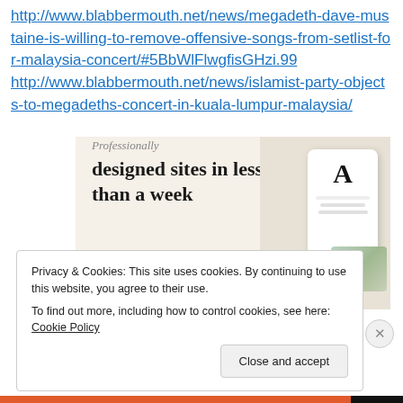http://www.blabbermouth.net/news/megadeth-dave-mustaine-is-willing-to-remove-offensive-songs-from-setlist-for-malaysia-concert/#5BbWlFlwgfisGHzi.99 http://www.blabbermouth.net/news/islamist-party-objects-to-megadeths-concert-in-kuala-lumpur-malaysia/
[Figure (screenshot): Advertisement for professionally designed websites. Shows text 'Professionally designed sites in less than a week' with a green 'Explore options' button and a device mockup.]
Privacy & Cookies: This site uses cookies. By continuing to use this website, you agree to their use.
To find out more, including how to control cookies, see here: Cookie Policy
Close and accept